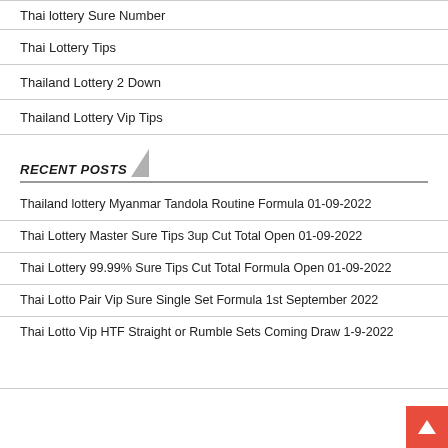Thai lottery Sure Number
Thai Lottery Tips
Thailand Lottery 2 Down
Thailand Lottery Vip Tips
RECENT POSTS
Thailand lottery Myanmar Tandola Routine Formula 01-09-2022
Thai Lottery Master Sure Tips 3up Cut Total Open 01-09-2022
Thai Lottery 99.99% Sure Tips Cut Total Formula Open 01-09-2022
Thai Lotto Pair Vip Sure Single Set Formula 1st September 2022
Thai Lotto Vip HTF Straight or Rumble Sets Coming Draw 1-9-2022